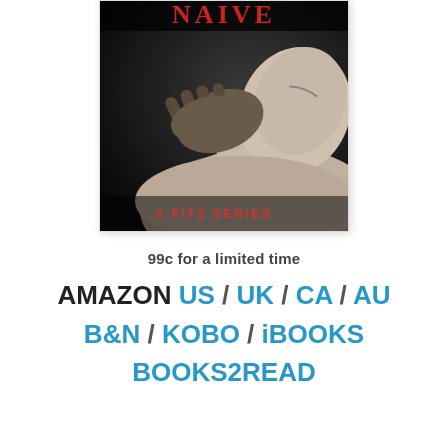[Figure (photo): Book cover for 'A Fitz Series' showing a black and white close-up photo of a person lying back with a hand on their neck. Red text 'A FITZ SERIES' appears at the bottom.]
99c for a limited time
AMAZON US / UK / CA / AU
B&N / KOBO / iBOOKS
BOOKS2READ